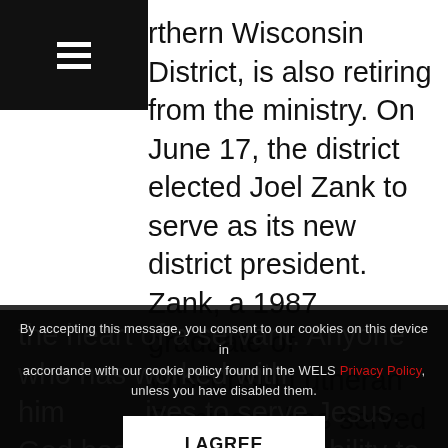rthern Wisconsin District, is also retiring from the ministry. On June 17, the district elected Joel Zank to serve as its new district president. Zank, a 1987 graduate of Wisconsin Lutheran Seminary, has served as pastor at Mount Olive, Appleton, Wis., since 1996. In 2011, Zank began serving as first vice president of the district.
By accepting this message, you consent to our cookies on this device in accordance with our cookie policy found in the WELS Privacy Policy, unless you have disabled them.
I AGREE
the heart of a servant. Anyone who has worked with him ... lives to serve Jesus. God has g... h the ability to be patient and loving even in the most